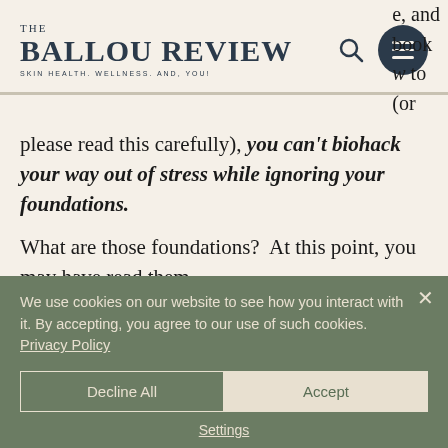THE BALLOU REVIEW — SKIN HEALTH. WELLNESS. AND, YOU!
e, and book w to (or
please read this carefully), you can't biohack your way out of stress while ignoring your foundations.
What are those foundations?  At this point, you may have read them
We use cookies on our website to see how you interact with it. By accepting, you agree to our use of such cookies. Privacy Policy
Decline All
Accept
Settings